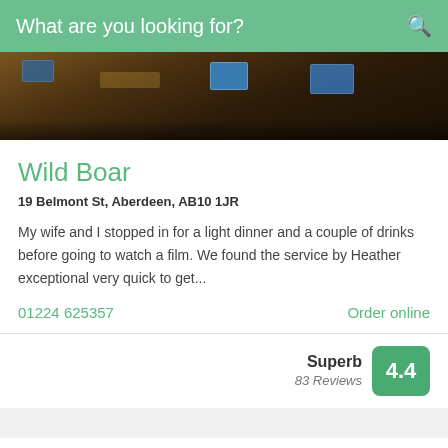What are you looking for?
[Figure (photo): Interior of a dimly lit bar/pub with TV screens visible in the background]
Wild Boar
19 Belmont St, Aberdeen, AB10 1JR
My wife and I stopped in for a light dinner and a couple of drinks before going to watch a film. We found the service by Heather exceptional very quick to get...
01224 625357
Order online
Superb
83 Reviews
4.4
INDIAN
[Figure (illustration): Partial cutlery or food-related icon at the bottom of page]